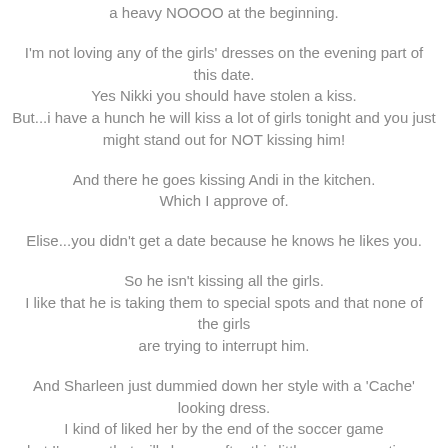a heavy NOOOO at the beginning.
I'm not loving any of the girls' dresses on the evening part of this date.
Yes Nikki you should have stolen a kiss.
But...i have a hunch he will kiss a lot of girls tonight and you just
might stand out for NOT kissing him!
And there he goes kissing Andi in the kitchen.
Which I approve of.
Elise...you didn't get a date because he knows he likes you.
So he isn't kissing all the girls.
I like that he is taking them to special spots and that none of the girls
are trying to interrupt him.
And Sharleen just dummied down her style with a 'Cache' looking dress.
I kind of liked her by the end of the soccer game
but I'm sure that will change after this little one on one time.